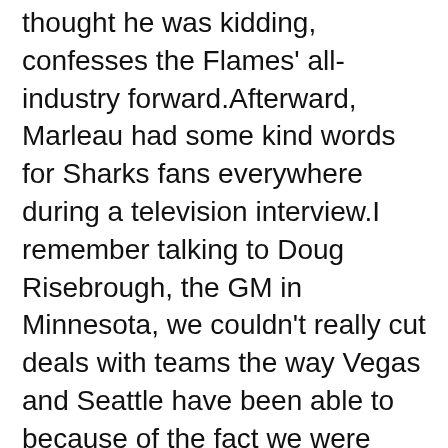The game will be air at 10 p.m. At first, I thought he was kidding, confesses the Flames' all-industry forward.Afterward, Marleau had some kind words for Sharks fans everywhere during a television interview.I remember talking to Doug Risebrough, the GM in Minnesota, we couldn't really cut deals with teams the way Vegas and Seattle have been able to because of the fact we were both picking.I just hope the next 1 don't take this long.
He's yet to steal a base so far this season, but it's easy to imagine him getting the green light with the Mets struggling for offense.Available for California residents only.To prove you can play against those guys and compete helps you develop as a player and gives you more confidence going forward.He played more minutes night